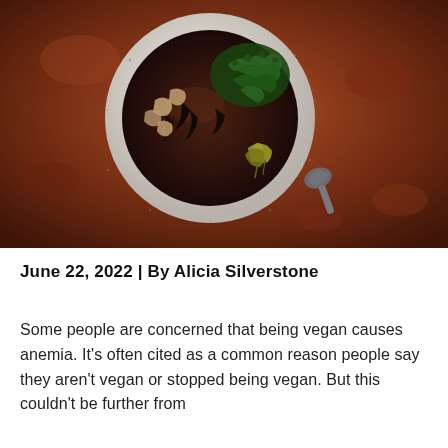[Figure (photo): Overhead shot of a grey speckled ceramic bowl containing dark broth with mushrooms, black seaweed, green broccoli rabe, and yellow flowering greens. A dark grey oval spoon rests beside the bowl on a dark reddish-brown textured surface.]
June 22, 2022 | By Alicia Silverstone
Some people are concerned that being vegan causes anemia. It's often cited as a common reason people say they aren't vegan or stopped being vegan. But this couldn't be further from